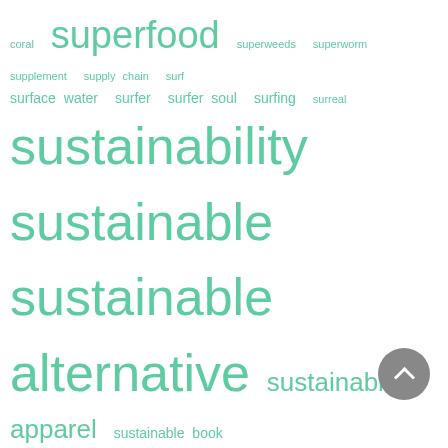[Figure (infographic): Word cloud of sustainability, technology, nature and travel related terms in teal/green color on white background. Larger words include: sustainability, sustainable, alternative, sustainable food, sustainable life, sustainable living, sustainable packaging, sustainable vacation, technology, temperature, threat, tourism, transportation, trash. Smaller words include coral, superfood, superweeds, superworm, supplement, supply chain, surf, surface water, surfer, surfer soul, surfing, surreal, and many more.]